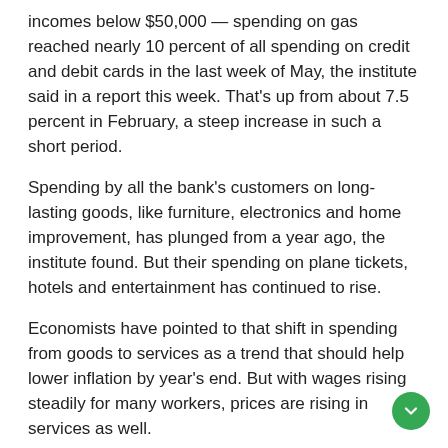incomes below $50,000 — spending on gas reached nearly 10 percent of all spending on credit and debit cards in the last week of May, the institute said in a report this week. That's up from about 7.5 percent in February, a steep increase in such a short period.
Spending by all the bank's customers on long-lasting goods, like furniture, electronics and home improvement, has plunged from a year ago, the institute found. But their spending on plane tickets, hotels and entertainment has continued to rise.
Economists have pointed to that shift in spending from goods to services as a trend that should help lower inflation by year's end. But with wages rising steadily for many workers, prices are rising in services as well.
Добавить комментарий
Для отправки комментария вам необходимо авторизоваться.